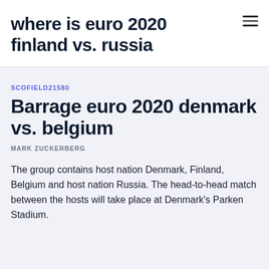where is euro 2020 finland vs. russia
SCOFIELD21580
Barrage euro 2020 denmark vs. belgium
MARK ZUCKERBERG
The group contains host nation Denmark, Finland, Belgium and host nation Russia. The head-to-head match between the hosts will take place at Denmark's Parken Stadium.